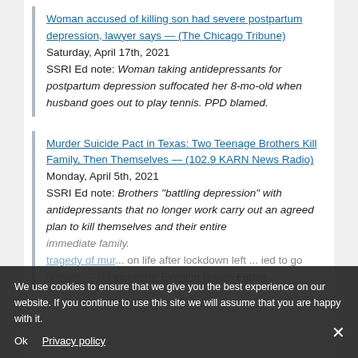Woman accused of killing son had severe postpartum depression, lawyer says — (The Chicago Tribune) Saturday, April 17th, 2021 SSRI Ed note: Woman taking antidepressants for postpartum depression suffocated her 8-mo-old when husband goes out to play tennis. PPD blamed.
Murder Suicide Pact in Texas: Two Teenage Brothers Kill Family, Then Themselves — (102.9 KARN News Radio) Monday, April 5th, 2021 SSRI Ed note: Brothers "battling depression" with antidepressants that no longer work carry out an agreed plan to kill themselves and their entire immediate family. tragedy of mur... on life after lockdown left ... ied to go outside — (Manchester Evening News) Friday...
We use cookies to ensure that we give you the best experience on our website. If you continue to use this site we will assume that you are happy with it. Ok | Privacy policy